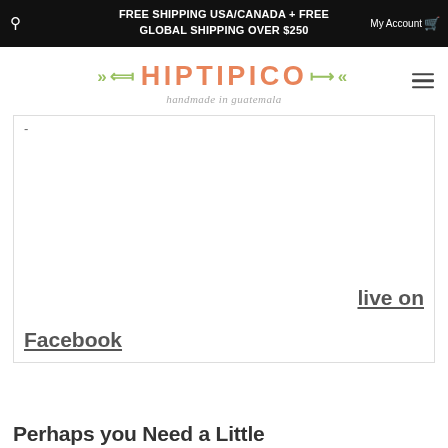FREE SHIPPING USA/CANADA + FREE GLOBAL SHIPPING OVER $250
[Figure (logo): Hiptipico logo with orange/salmon text and green arrow decorations, subtitle 'handmade in guatemala' in italic gray]
[Figure (photo): White/blank content area inside a bordered box with a dash at top left]
live on
Facebook
Perhaps you Need a Little